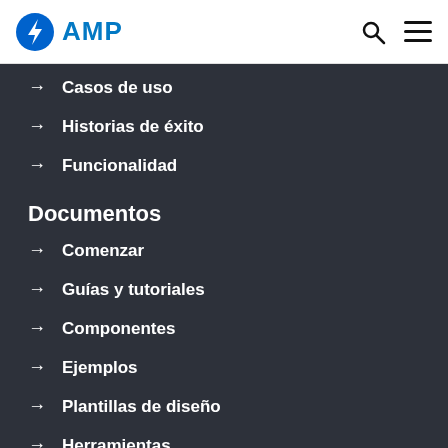AMP
→ Casos de uso
→ Historias de éxito
→ Funcionalidad
Documentos
→ Comenzar
→ Guías y tutoriales
→ Componentes
→ Ejemplos
→ Plantillas de diseño
→ Herramientas
Comunidad
→ Socios y proveedores de la plataforma